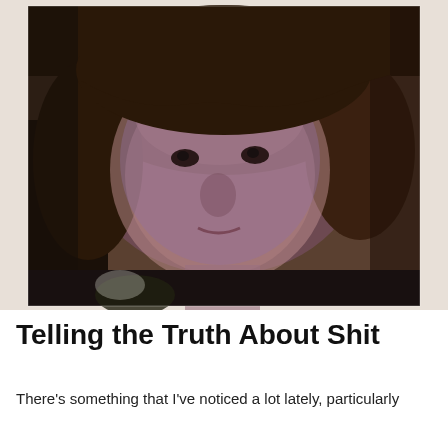[Figure (photo): Close-up selfie of a young person with dark brown bowl-cut hair, looking directly at camera with a serious expression, wearing a dark patterned shirt and a bead choker necklace. Photo taken indoors in low purple-tinted light.]
Telling the Truth About Shit
There's something that I've noticed a lot lately, particularly